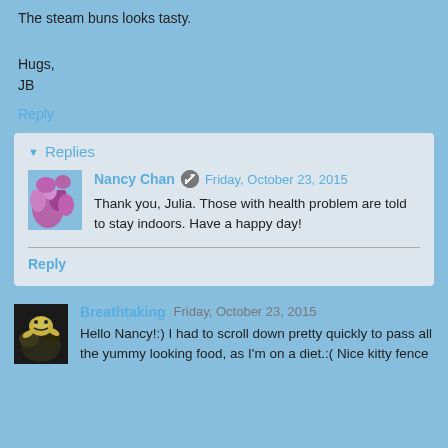The steam buns looks tasty.
Hugs,
JB
Reply
Replies
Nancy Chan  Friday, October 23, 2015
Thank you, Julia. Those with health problem are told to stay indoors. Have a happy day!
Reply
Breathtaking  Friday, October 23, 2015
Hello Nancy!:) I had to scroll down pretty quickly to pass all the yummy looking food, as I'm on a diet.:( Nice kitty fence